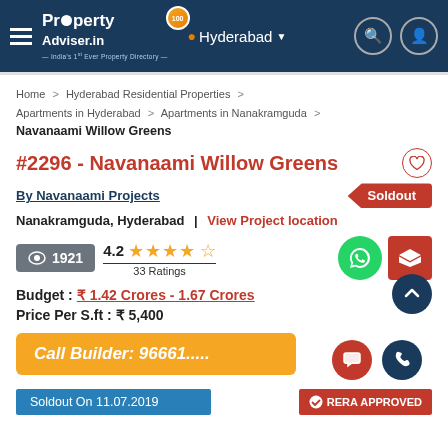PropertyAdviser.in — India's 1st Ever Property Directory | Hyderabad
Home > Hyderabad Residential Properties > Apartments in Hyderabad > Apartments in Nanakramguda
Navanaami Willow Greens
#2296 - Navanaami Willow Greens
By Navanaami Projects
Soldout
Nanakramguda, Hyderabad | View Project location
1921 views | 4.2 stars | 33 Ratings
Budget: ₹ 1.42 Crores - 1.67 Crores
Price Per S.ft: ₹ 5,400
Call Builder: 96661.....
Soldout On 11.07.2019
RERA APPROVED